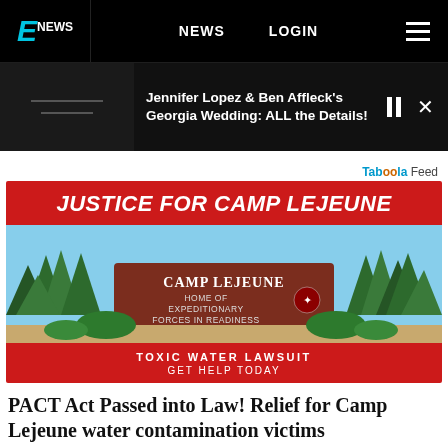E! NEWS | NEWS | LOGIN
Jennifer Lopez & Ben Affleck's Georgia Wedding: ALL the Details!
Taboola Feed
[Figure (illustration): Advertisement for Justice for Camp Lejeune toxic water lawsuit. Red banner with white bold italic text 'JUSTICE FOR CAMP LEJEUNE'. Below is an illustrated image of the Camp Lejeune entrance sign reading 'CAMP LEJEUNE HOME OF EXPEDITIONARY FORCES IN READINESS' with trees in background. Bottom red banner reads 'TOXIC WATER LAWSUIT / GET HELP TODAY'.]
PACT Act Passed into Law! Relief for Camp Lejeune water contamination victims